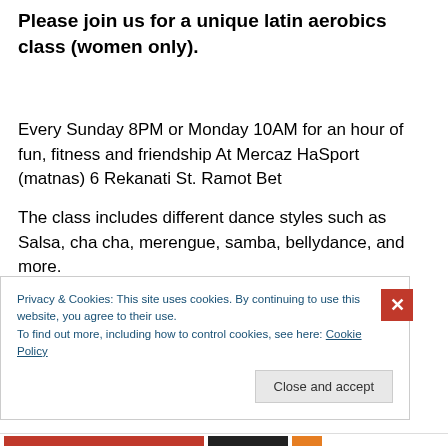Please join us for a unique latin aerobics class (women only).
Every Sunday 8PM or Monday 10AM for an hour of fun, fitness and friendship At Mercaz HaSport (matnas) 6 Rekanati St. Ramot Bet
The class includes different dance styles such as Salsa, cha cha, merengue, samba, bellydance, and more.
Information: call Iva 02-5839389
Registration: Matnas Ramot 02-5867662
Privacy & Cookies: This site uses cookies. By continuing to use this website, you agree to their use.
To find out more, including how to control cookies, see here: Cookie Policy